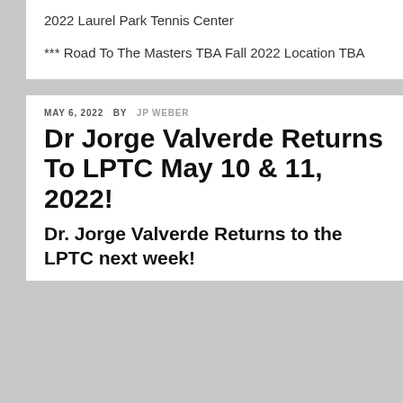2022 Laurel Park Tennis Center
*** Road To The Masters TBA Fall 2022 Location TBA
MAY 6, 2022  BY  JP WEBER
Dr Jorge Valverde Returns To LPTC May 10 & 11, 2022!
Dr. Jorge Valverde Returns to the LPTC next week!